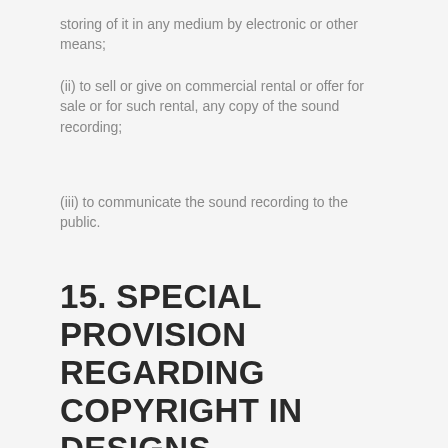storing of it in any medium by electronic or other means;
(ii) to sell or give on commercial rental or offer for sale or for such rental, any copy of the sound recording;
(iii) to communicate the sound recording to the public.
15. SPECIAL PROVISION REGARDING COPYRIGHT IN DESIGNS REGISTERED OR CAPABLE OF BEING REGISTERED UNDER THE DESIGNS ACT, 2000 (16 OF 2000).
(a) Copyright shall vest in design and